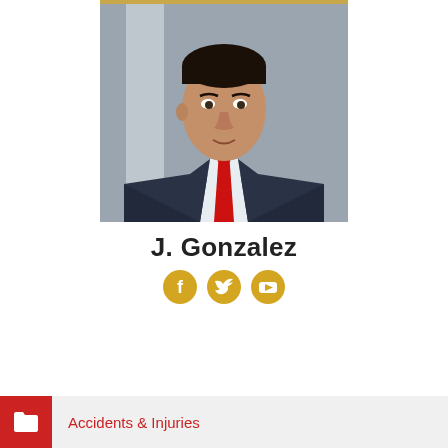[Figure (photo): Professional headshot of J. Gonzalez, a man in a dark suit with a red tie, looking slightly to the left]
J. Gonzalez
[Figure (infographic): Three round gold social media icons: Facebook, Twitter, YouTube]
Accidents & Injuries